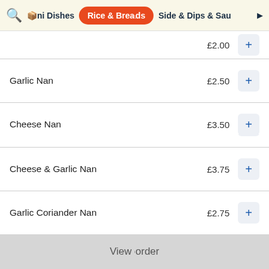ini Dishes | Rice & Breads | Side & Dips & Sau
£2.00 (partial item at top)
Garlic Nan £2.50
Cheese Nan £3.50
Cheese & Garlic Nan £3.75
Garlic Coriander Nan £2.75
Peshwari Nan £3.00
Chilli Nan £2.50
Minc... (partial item at bottom)
View order